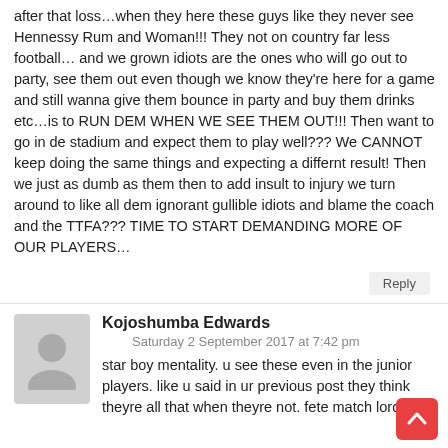after that loss…when they here these guys like they never see Hennessy Rum and Woman!!! They not on country far less football… and we grown idiots are the ones who will go out to party, see them out even though we know they're here for a game and still wanna give them bounce in party and buy them drinks etc…is to RUN DEM WHEN WE SEE THEM OUT!!! Then want to go in de stadium and expect them to play well??? We CANNOT keep doing the same things and expecting a differnt result! Then we just as dumb as them then to add insult to injury we turn around to like all dem ignorant gullible idiots and blame the coach and the TTFA??? TIME TO START DEMANDING MORE OF OUR PLAYERS…
Reply
Kojoshumba Edwards
Saturday 2 September 2017 at 7:42 pm
star boy mentality. u see these even in the junior players. like u said in ur previous post they think theyre all that when theyre not. fete match lords yea